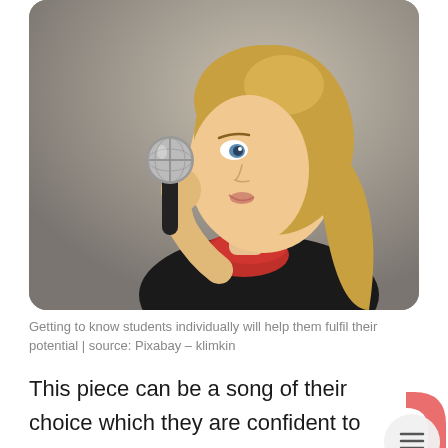[Figure (photo): A young girl with blonde hair holding a microphone and singing, wearing a black outfit with a red scarf, photographed against a soft grey background.]
Getting to know students individually will help them fulfil their potential | source: Pixabay – klimkin
This piece can be a song of their choice which they are confident to perform. If, after their perfor of their chosen piece, you are still not satisfie you have heard the extent of their vocal ability, you